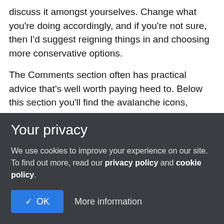discuss it amongst yourselves. Change what you're doing accordingly, and if you're not sure, then I'd suggest reigning things in and choosing more conservative options.
The Comments section often has practical advice that's well worth paying heed to. Below this section you'll find the avalanche icons, they're the main types of avalanche hazard that the forecasters think we'll be coming up against on any given day. They vary according to the snowpack and weather. You can click on them for more information, and during the season a small arrow will appear, suggesting whether that particular hazard is
Your privacy
We use cookies to improve your experience on our site. To find out more, read our privacy policy and cookie policy.
✓ OK    More information